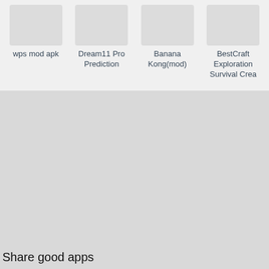[Figure (screenshot): App thumbnails row showing four app icons with placeholder grey rectangles]
wps mod apk
Dream11 Pro Prediction
Banana Kong(mod)
BestCraft Exploration Survival Crea
Share good apps